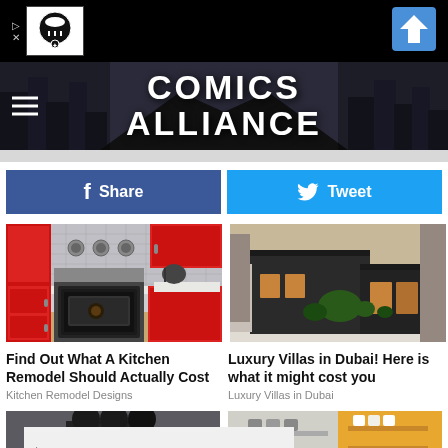[Figure (screenshot): Ad banner with chef skull logo and navigation arrow on black background]
[Figure (logo): Comics Alliance website header with cityscape background and hamburger menu]
[Figure (infographic): Facebook Share button (dark blue) and Twitter Tweet button (light blue)]
[Figure (photo): Red kitchen with oven and countertops]
Find Out What A Kitchen Remodel Should Actually Cost
Kitchen Remodel Designs
[Figure (photo): Luxury modern villa exterior with dark cladding and large windows]
Luxury Villas in Dubai! Here is what it might cost you
Luxury Villas in Dubai
[Figure (photo): Partial bottom card image left - dark interior]
[Figure (photo): Partial bottom card image right - kitchen with yellow accent]
[Figure (screenshot): Bottom ad overlay with play and close icons]